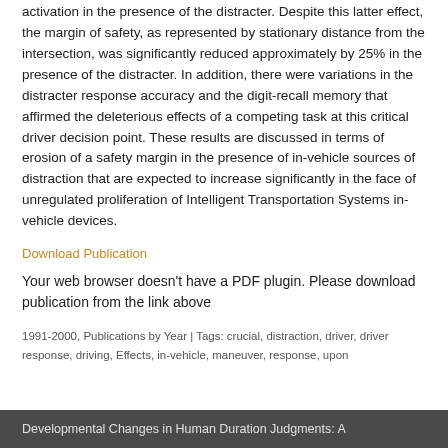activation in the presence of the distracter. Despite this latter effect, the margin of safety, as represented by stationary distance from the intersection, was significantly reduced approximately by 25% in the presence of the distracter. In addition, there were variations in the distracter response accuracy and the digit-recall memory that affirmed the deleterious effects of a competing task at this critical driver decision point. These results are discussed in terms of erosion of a safety margin in the presence of in-vehicle sources of distraction that are expected to increase significantly in the face of unregulated proliferation of Intelligent Transportation Systems in-vehicle devices.
Download Publication
Your web browser doesn't have a PDF plugin. Please download publication from the link above
1991-2000, Publications by Year | Tags: crucial, distraction, driver, driver response, driving, Effects, in-vehicle, maneuver, response, upon
Developmental Changes in Human Duration Judgments: A